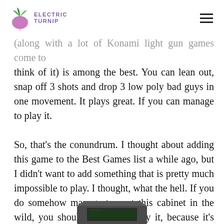Electric Turnip
(along with a lot of Konami light gun games come to think of it) is among the best. You can lean out, snap off 3 shots and drop 3 low poly bad guys in one movement. It plays great. If you can manage to play it.
So, that's the conundrum. I thought about adding this game to the Best Games list a while ago, but I didn't want to add something that is pretty much impossible to play. I thought, what the hell. If you do somehow manage to spot this cabinet in the wild, you should absolutely play it, because it's one of the best games.
[Figure (photo): Partial image visible at bottom of page, appears to be an arcade cabinet photo]